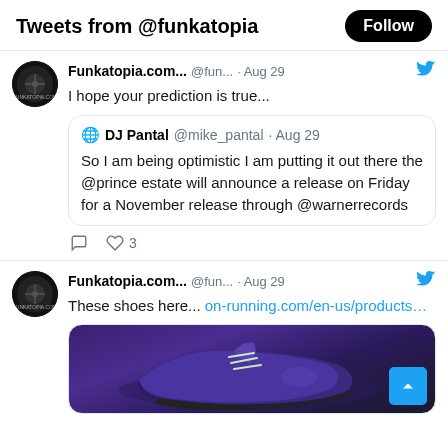Tweets from @funkatopia
[Figure (screenshot): Tweet from Funkatopia.com (@fun...) on Aug 29: 'I hope your prediction is true...' with a quoted tweet from DJ Pantal @mike_pantal Aug 29: 'So I am being optimistic I am putting it out there the @prince estate will announce a release on Friday for a November release through @warnerrecords'. Actions: 0 comments, 3 likes.]
[Figure (screenshot): Tweet from Funkatopia.com (@fun...) on Aug 29: 'These shoes here... on-running.com/en-us/products...' with a partial shoe image visible (purple/dark athletic shoe).]